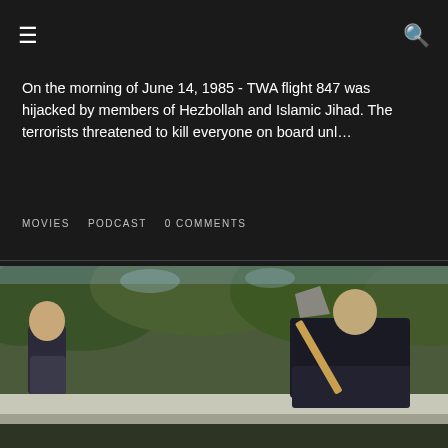☰  🔍
On the morning of June 14, 1985 - TWA flight 847 was hijacked by members of Hezbollah and Islamic Jihad. The terrorists threatened to kill everyone on board unl…
MOVIES   PODCAST   0 COMMENTS
[Figure (photo): Two men outdoors, one holding an axe raised overhead, with trees in the background. A film still, likely from a movie.]